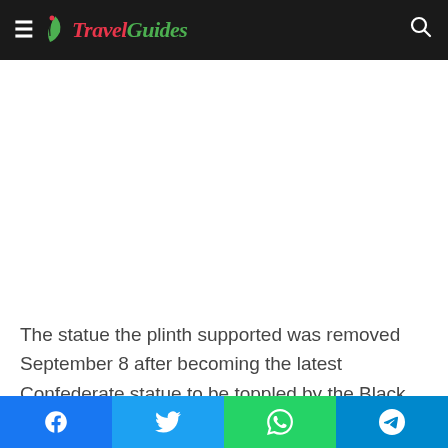TravelGuides
[Figure (other): Advertisement / blank white space area]
The statue the plinth supported was removed September 8 after becoming the latest Confederate statue to be toppled by the Black Lives Matter movement amid protest from some white residents.
Social share bar: Facebook, Twitter, WhatsApp, Telegram